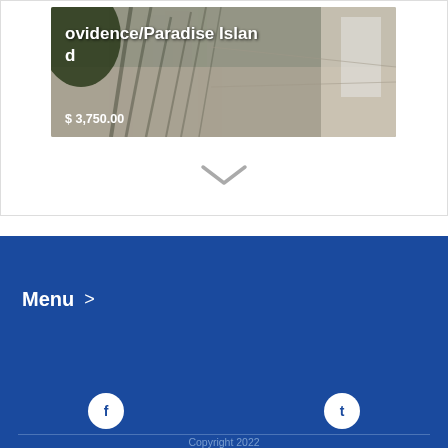[Figure (photo): Photo of an outdoor corridor/patio with tree shadows cast on the ground, partially visible through a card-style listing. Title text 'ovidence/Paradise Island' and price '$ 3,750.00' overlaid on image.]
ovidence/Paradise Island
$ 3,750.00
[Figure (other): Chevron/down arrow icon indicating expandable content]
Menu >
Copyright 2022